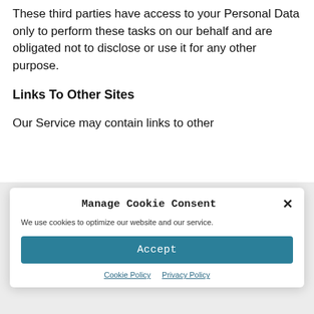These third parties have access to your Personal Data only to perform these tasks on our behalf and are obligated not to disclose or use it for any other purpose.
Links To Other Sites
Our Service may contain links to other
Manage Cookie Consent
We use cookies to optimize our website and our service.
Accept
Cookie Policy   Privacy Policy